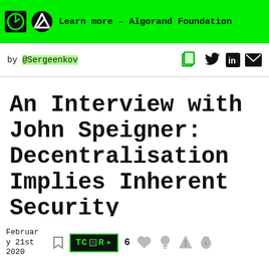Learn more – Algorand Foundation
by @Sergeenkov
An Interview with John Speigner: Decentralisation Implies Inherent Security
February 21st 2020